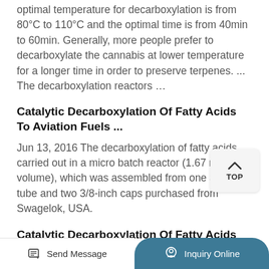optimal temperature for decarboxylation is from 80°C to 110°C and the optimal time is from 40min to 60min. Generally, more people prefer to decarboxylate the cannabis at lower temperature for a longer time in order to preserve terpenes. ... The decarboxylation reactors ...
Catalytic Decarboxylation Of Fatty Acids To Aviation Fuels ...
Jun 13, 2016 The decarboxylation of fatty acids carried out in a micro batch reactor (1.67 mL volume), which was assembled from one 3/8-inch tube and two 3/8-inch caps purchased from Swagelok, USA.
Catalytic Decarboxylation Of Fatty Acids To Aviation Fuels ...
Send Message | Inquiry Online